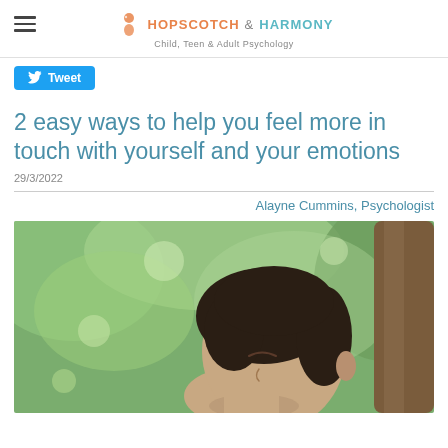HOPSCOTCH & HARMONY — Child, Teen & Adult Psychology
[Figure (other): Twitter Tweet button in blue]
2 easy ways to help you feel more in touch with yourself and your emotions
29/3/2022
Alayne Cummins, Psychologist
[Figure (photo): A person with dark hair leaning back against a tree with eyes closed, surrounded by green foliage in a peaceful outdoor setting.]